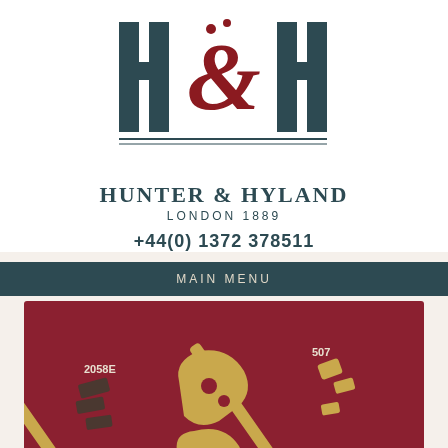[Figure (logo): Hunter & Hyland logo with two large H letters in dark teal and a red decorative ampersand between them, with horizontal lines beneath]
HUNTER & HYLAND
LONDON 1889
+44(0) 1372 378511
MAIN MENU
[Figure (photo): Product photo showing brass and dark metal hardware pieces (furniture fittings) on a dark red background, labeled 2058E and 507]
GENERAL ENQUIRIES | FORM